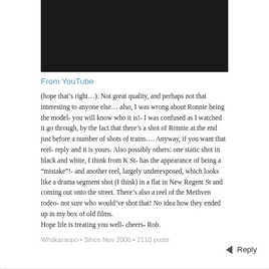[Figure (photo): Black video embed placeholder rectangle]
From YouTube
(hope that’s right…). Not great quality, and perhaps not that interesting to anyone else… also, I was wrong about Ronnie being the model- you will know who it is!- I was confused as I watched it go through, by the fact that there’s a shot of Ronnie at the end just before a number of shots of trains…. Anyway, if you want that reel- reply and it is yours. Also possibly others: one static shot in black and white, I think from K St- has the appearance of being a “mistake”!- and another reel, largely underexposed, which looks like a drama segment shot (I think) in a flat in New Regent St and coming out onto the street. There’s also a reel of the Methven rodeo- not sure who would’ve shot that! No idea how they ended up in my box of old films.
Hope life is treating you well- cheers- Rob.
Whakaraupo • Since Nov 2006 • 2110 posts
Reply